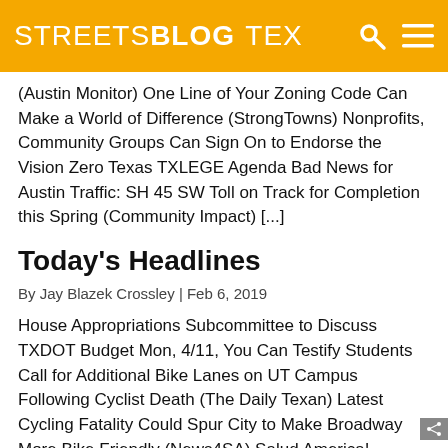STREETSBLOG TEX
(Austin Monitor) One Line of Your Zoning Code Can Make a World of Difference (StrongTowns) Nonprofits, Community Groups Can Sign On to Endorse the Vision Zero Texas TXLEGE Agenda Bad News for Austin Traffic: SH 45 SW Toll on Track for Completion this Spring (Community Impact) [...]
Today's Headlines
By Jay Blazek Crossley | Feb 6, 2019
House Appropriations Subcommittee to Discuss TXDOT Budget Mon, 4/11, You Can Testify Students Call for Additional Bike Lanes on UT Campus Following Cyclist Death (The Daily Texan) Latest Cycling Fatality Could Spur City to Make Broadway More Bike Friendly (News4SA) Salud America! Members Provide 30% of Comments for Texas Transportation Safety (Salud America) Austin Pedestrian [...]